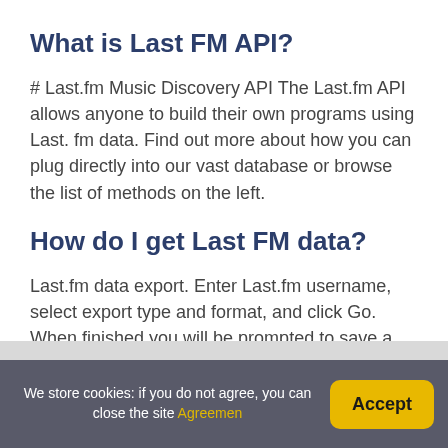What is Last FM API?
# Last.fm Music Discovery API The Last.fm API allows anyone to build their own programs using Last. fm data. Find out more about how you can plug directly into our vast database or browse the list of methods on the left.
How do I get Last FM data?
Last.fm data export. Enter Last.fm username, select export type and format, and click Go. When finished you will be prompted to save a file. Large amounts of scrobbles (>100k) take a minute or two generally.
We store cookies: if you do not agree, you can close the site Agreemen  Accept